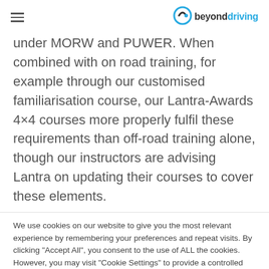beyonddriving
under MORW and PUWER. When combined with on road training, for example through our customised familiarisation course, our Lantra-Awards 4×4 courses more properly fulfil these requirements than off-road training alone, though our instructors are advising Lantra on updating their courses to cover these elements.
We use cookies on our website to give you the most relevant experience by remembering your preferences and repeat visits. By clicking "Accept All", you consent to the use of ALL the cookies. However, you may visit "Cookie Settings" to provide a controlled consent.